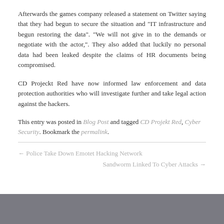Afterwards the games company released a statement on Twitter saying that they had begun to secure the situation and "IT infrastructure and begun restoring the data". "We will not give in to the demands or negotiate with the actor,". They also added that luckily no personal data had been leaked despite the claims of HR documents being compromised.
CD Projeckt Red have now informed law enforcement and data protection authorities who will investigate further and take legal action against the hackers.
This entry was posted in Blog Post and tagged CD Projekt Red, Cyber Security. Bookmark the permalink.
← Police Take Down Emotet Hacking Network
Sandworm Linked To Cyber Attacks →